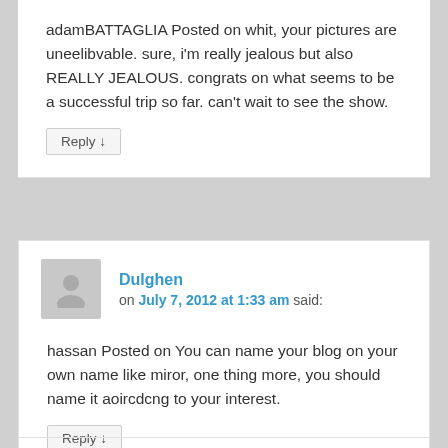adamBATTAGLIA Posted on whit, your pictures are uneelibvable. sure, i'm really jealous but also REALLY JEALOUS. congrats on what seems to be a successful trip so far. can't wait to see the show.
Reply ↓
Dulghen
on July 7, 2012 at 1:33 am said:
hassan Posted on You can name your blog on your own name like miror, one thing more, you should name it aoircdcng to your interest.
Reply ↓